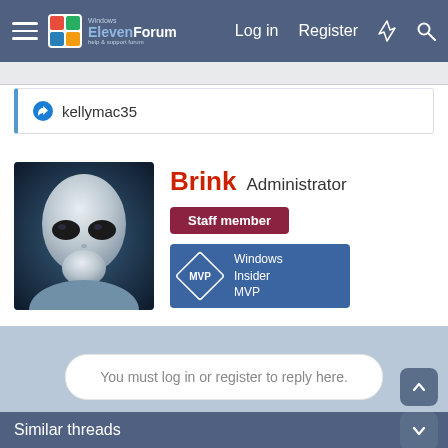Windows ElevenForum — Log in  Register
kellymac35
Brink Administrator
[Figure (photo): Avatar image of an alien figure (grey alien) with large dark eyes against a blue-toned background]
Staff member
[Figure (logo): Windows Insider MVP badge with diamond shape and blue background]
You must log in or register to reply here.
Similar threads
New Microsoft PowerToys version v0.61.0